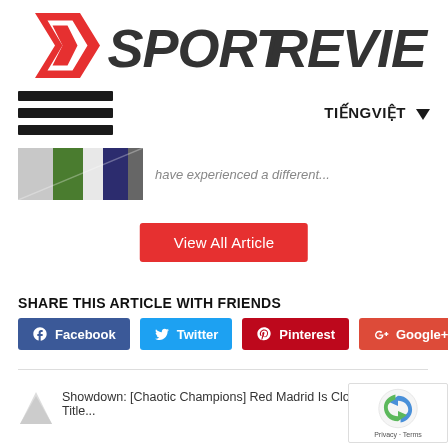[Figure (logo): SportReviews logo with red shield/chevron icon and black SPORTREVIEWS text]
[Figure (screenshot): Hamburger menu icon (three horizontal bars) on left, TIẾNGVIỆT language selector with dropdown arrow on right]
[Figure (photo): Small thumbnail image of sports/football related content, partially visible]
have experienced a different...
View All Article
SHARE THIS ARTICLE WITH FRIENDS
Facebook  Twitter  Pinterest  Google+
Showdown: [Chaotic Champions] Red Madrid Is Close To The Title...